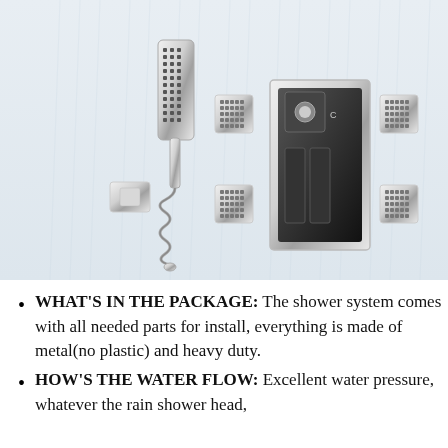[Figure (photo): Product photo of a chrome shower system set against a light blue-grey water/rain background. Components include: a handheld shower head with flexible hose and wall bracket (left side), a square wall-mount valve control panel with two levers (center-right), and four small square body jet nozzles (two on each side of the valve). All parts are chrome/silver finish.]
WHAT'S IN THE PACKAGE: The shower system comes with all needed parts for install, everything is made of metal(no plastic) and heavy duty.
HOW'S THE WATER FLOW: Excellent water pressure, whatever the rain shower head,